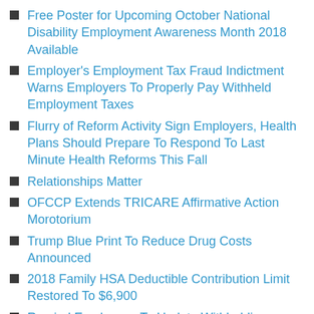Free Poster for Upcoming October National Disability Employment Awareness Month 2018 Available
Employer's Employment Tax Fraud Indictment Warns Employers To Properly Pay Withheld Employment Taxes
Flurry of Reform Activity Sign Employers, Health Plans Should Prepare To Respond To Last Minute Health Reforms This Fall
Relationships Matter
OFCCP Extends TRICARE Affirmative Action Morotorium
Trump Blue Print To Reduce Drug Costs Announced
2018 Family HSA Deductible Contribution Limit Restored To $6,900
Remind Employees To Update Withholding
DOL Spending Reports Required As Taxpayer Tool